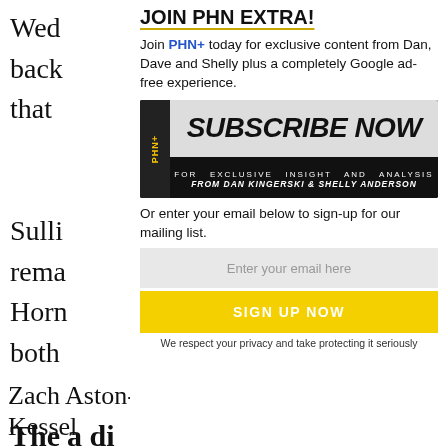Wed back that
JOIN PHN EXTRA!
Join PHN+ today for exclusive content from Dan, Dave and Shelly plus a completely Google ad-free experience.
[Figure (other): PHN+ Subscribe Now banner - For Exclusive Insight and Analysis from Dan Kingerski & Shelly Anderson]
Or enter your email below to sign-up for our mailing list.
Enter your email here
SIGN UP NOW
We respect your privacy and take protecting it seriously
Sulli rema Horn both
The a di
Tann
Zach Aston-Reese, Evgeni Malkin, Phil Kessel